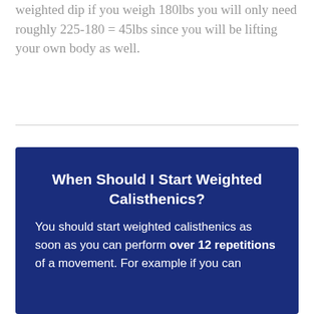weighted dip if you weigh 180lbs you will only need roughly 225-180 = 45lbs since you will be lifting your own body as well.
When Should I Start Weighted Calisthenics? You should start weighted calisthenics as soon as you can perform over 12 repetitions of a movement. For example if you can